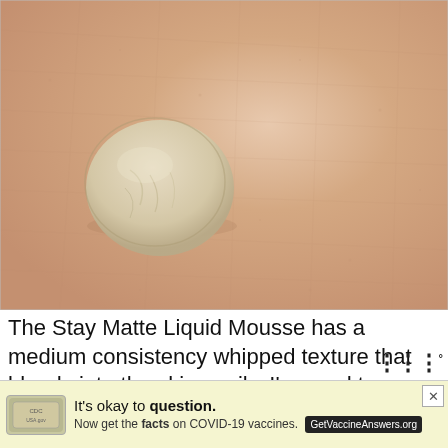[Figure (photo): Close-up macro photo of a drop or dollop of beige/cream-colored liquid foundation or mousse on human skin, showing the skin texture in detail.]
The Stay Matte Liquid Mousse has a medium consistency whipped texture that blends into the skin easily. I'm used to very liquidy fo... a th...
[Figure (infographic): Advertisement banner: 'It's okay to question. Now get the facts on COVID-19 vaccines. GetVaccineAnswers.org' with a close button (x) and a small logo on the left.]